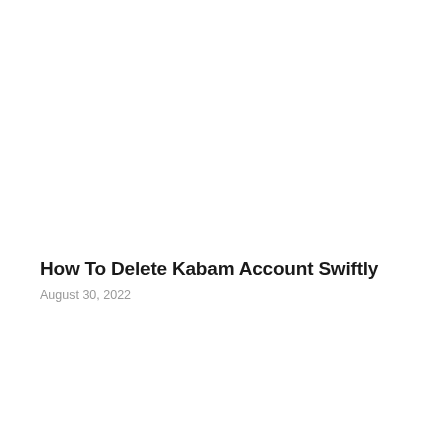How To Delete Kabam Account Swiftly
August 30, 2022